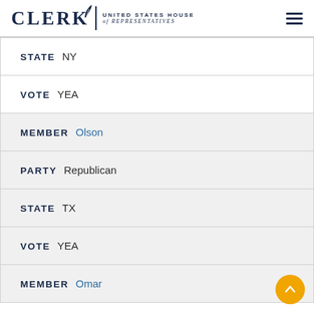CLERK United States House of Representatives
STATE NY
VOTE YEA
MEMBER Olson
PARTY Republican
STATE TX
VOTE YEA
MEMBER Omar